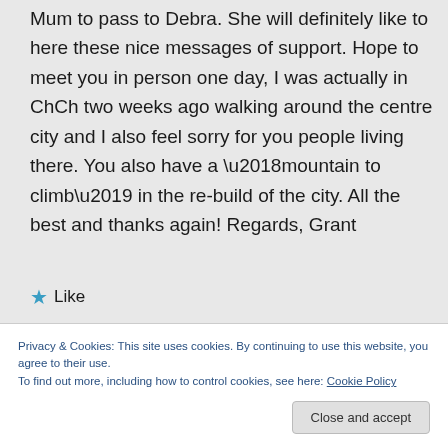Mum to pass to Debra. She will definitely like to here these nice messages of support. Hope to meet you in person one day, I was actually in ChCh two weeks ago walking around the centre city and I also feel sorry for you people living there. You also have a ‘mountain to climb’ in the re-build of the city. All the best and thanks again! Regards, Grant
★ Like
Privacy & Cookies: This site uses cookies. By continuing to use this website, you agree to their use. To find out more, including how to control cookies, see here: Cookie Policy
Close and accept